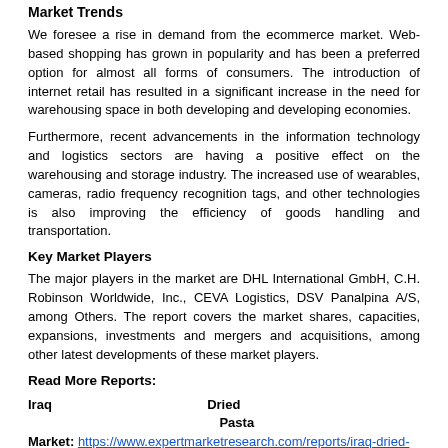Market Trends
We foresee a rise in demand from the ecommerce market. Web-based shopping has grown in popularity and has been a preferred option for almost all forms of consumers. The introduction of internet retail has resulted in a significant increase in the need for warehousing space in both developing and developing economies.
Furthermore, recent advancements in the information technology and logistics sectors are having a positive effect on the warehousing and storage industry. The increased use of wearables, cameras, radio frequency recognition tags, and other technologies is also improving the efficiency of goods handling and transportation.
Key Market Players
The major players in the market are DHL International GmbH, C.H. Robinson Worldwide, Inc., CEVA Logistics, DSV Panalpina A/S, among Others. The report covers the market shares, capacities, expansions, investments and mergers and acquisitions, among other latest developments of these market players.
Read More Reports:
Iraq Dried Pasta Market: https://www.expertmarketresearch.com/reports/iraq-dried-pasta-market